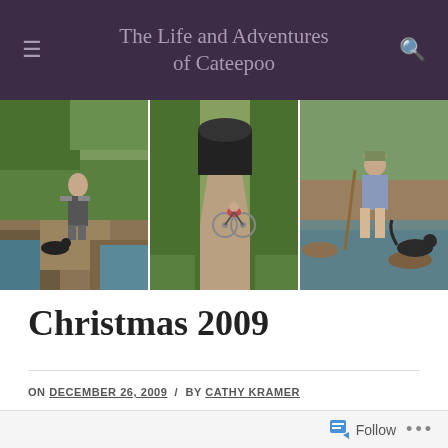The Life and Adventures of Cateepoo
[Figure (photo): Three outdoor adventure photos: left - person and dog crossing stone steps over a stream, center - cyclist heading toward a tunnel on a trail, right - woman wading in a creek with a dog]
Christmas 2009
ON DECEMBER 26, 2009 / BY CATHY KRAMER
[Figure (other): Follow button bar at the bottom of the page with a follow icon and ellipsis menu]